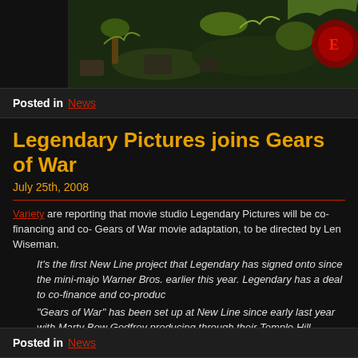[Figure (photo): Dark fantasy game scene with foliage, rocks, and a red logo partially visible at right edge]
Posted in News
Legendary Pictures joins Gears of War
July 25th, 2008
Variety are reporting that movie studio Legendary Pictures will be co-financing and co- Gears of War movie adaptation, to be directed by Len Wiseman.
It's the first New Line project that Legendary has signed onto since the mini-major Warner Bros. earlier this year. Legendary has a deal to co-finance and co-produc
"Gears of War" has been set up at New Line since early last year with Marty Bow Godfrey producing through their Temple Hill banner. "Gears" lead designer Cliff B producing and consulting for developer Epic, which owns the rights.
Len Wiseman is directing with Chris Morgan writing the script. First draft was pen Beattie.
Posted in News